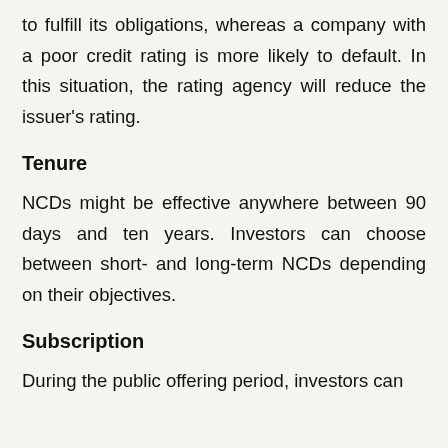to fulfill its obligations, whereas a company with a poor credit rating is more likely to default. In this situation, the rating agency will reduce the issuer's rating.
Tenure
NCDs might be effective anywhere between 90 days and ten years. Investors can choose between short- and long-term NCDs depending on their objectives.
Subscription
During the public offering period, investors can